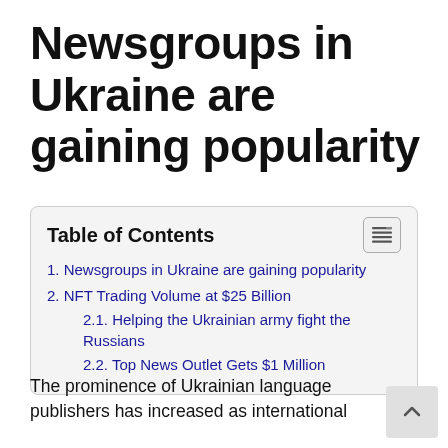Newsgroups in Ukraine are gaining popularity
| 1. Newsgroups in Ukraine are gaining popularity |
| 2. NFT Trading Volume at $25 Billion |
| 2.1. Helping the Ukrainian army fight the Russians |
| 2.2. Top News Outlet Gets $1 Million |
The prominence of Ukrainian language publishers has increased as international